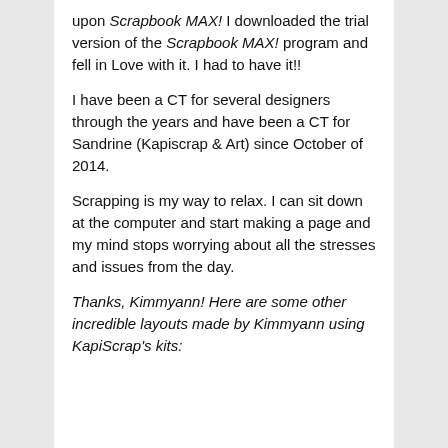upon Scrapbook MAX! I downloaded the trial version of the Scrapbook MAX! program and fell in Love with it. I had to have it!!
I have been a CT for several designers through the years and have been a CT for Sandrine (Kapiscrap & Art) since October of 2014.
Scrapping is my way to relax. I can sit down at the computer and start making a page and my mind stops worrying about all the stresses and issues from the day.
Thanks, Kimmyann! Here are some other incredible layouts made by Kimmyann using KapiScrap's kits: